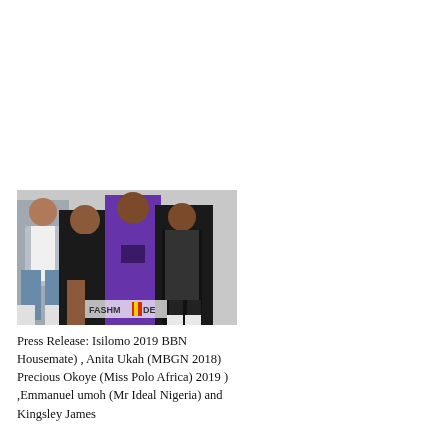[Figure (photo): Group photo of four people: a man in a silver blazer and white top on the left, a woman in a black dress, a tall woman in a purple gown in the center, and a man in a black outfit on the right. A watermark reading FASHMODE is visible at the bottom.]
Press Release: Isilomo 2019 BBN Housemate) , Anita Ukah (MBGN 2018) Precious Okoye (Miss Polo Africa) 2019 ) ,Emmanuel umoh (Mr Ideal Nigeria) and Kingsley James